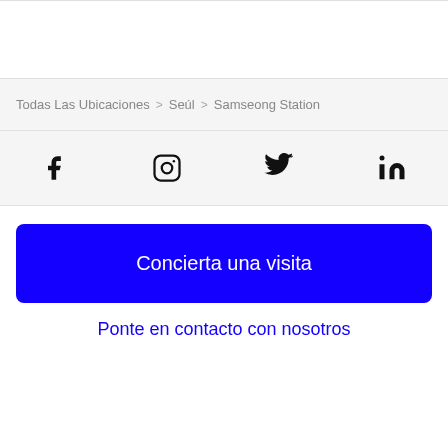Todas Las Ubicaciones > Seúl > Samseong Station
[Figure (infographic): Social media icons: Facebook, Instagram, Twitter, LinkedIn]
Concierta una visita
Ponte en contacto con nosotros